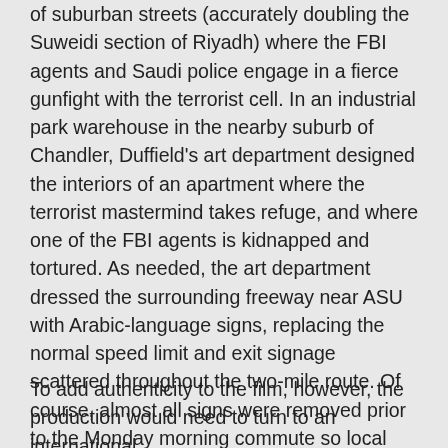of suburban streets (accurately doubling the Suweidi section of Riyadh) where the FBI agents and Saudi police engage in a fierce gunfight with the terrorist cell. In an industrial park warehouse in the nearby suburb of Chandler, Duffield's art department designed the interiors of an apartment where the terrorist mastermind takes refuge, and where one of the FBI agents is kidnapped and tortured. As needed, the art department dressed the surrounding freeway near ASU with Arabic-language signs, replacing the normal speed limit and exit signage scattered throughout the two-mile route. Of course, almost all signs were removed prior to the Monday morning commute so local airfreight drivers didn't get confused during deliveries.
To add authenticity to the film, however, the production would need to turn to an international